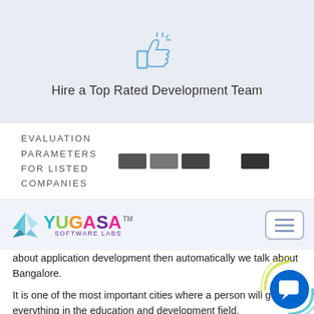[Figure (illustration): Thumbs up icon with blue outline style on light blue-gray background]
Hire a Top Rated Development Team
EVALUATION PARAMETERS FOR LISTED COMPANIES
[Figure (logo): Small company logo thumbnails/badges]
[Figure (logo): Yugasa Software Labs logo with colorful lettering and origami bird]
about application development then automatically we talk about Bangalore.
It is one of the most important cities where a person will get everything in the education and development field.
There are so many app development companies where